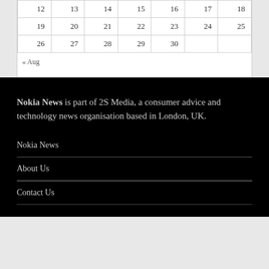| 12 | 13 | 14 | 15 | 16 | 17 | 18 |
| 19 | 20 | 21 | 22 | 23 | 24 | 25 |
| 26 | 27 | 28 | 29 | 30 |  |  |
« Aug
Nokia News is part of 2S Media, a consumer advice and technology news organisation based in London, UK.
Nokia News
About Us
Contact Us